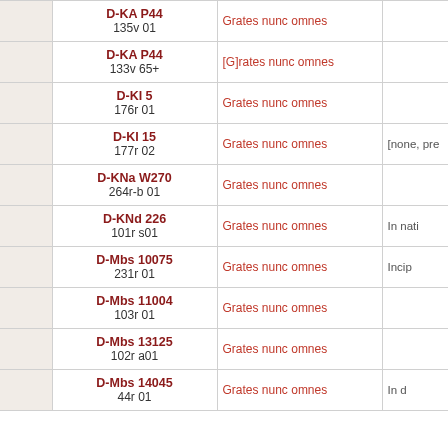|  | Manuscript | Incipit | Notes |
| --- | --- | --- | --- |
|  | D-KA P44
135v 01 | Grates nunc omnes |  |
|  | D-KA P44
133v 65+ | [G]rates nunc omnes |  |
|  | D-KI 5
176r 01 | Grates nunc omnes |  |
|  | D-KI 15
177r 02 | Grates nunc omnes | [none, pre |
|  | D-KNa W270
264r-b 01 | Grates nunc omnes |  |
|  | D-KNd 226
101r s01 | Grates nunc omnes | In nati |
|  | D-Mbs 10075
231r 01 | Grates nunc omnes | Incip |
|  | D-Mbs 11004
103r 01 | Grates nunc omnes |  |
|  | D-Mbs 13125
102r a01 | Grates nunc omnes |  |
|  | D-Mbs 14045
44r 01 | Grates nunc omnes | In d |